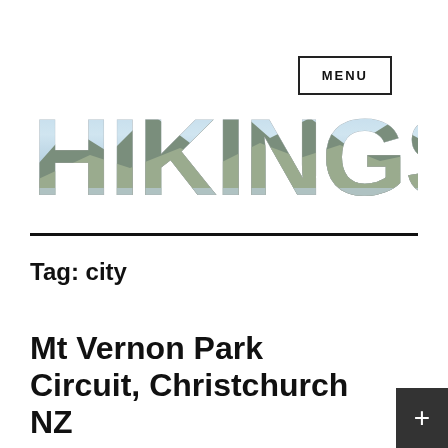MENU
[Figure (logo): HIKINGSCENERY logo text filled with scenic mountain and lake landscape photograph]
Tag: city
Mt Vernon Park Circuit, Christchurch NZ